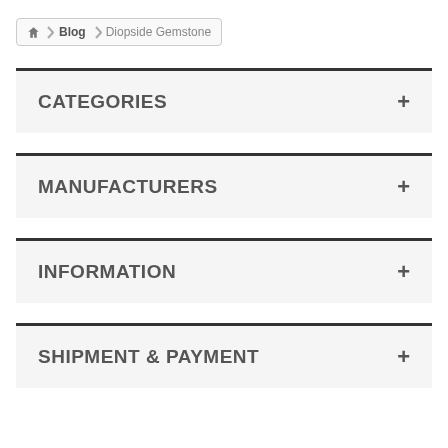Home > Blog > Diopside Gemstone
CATEGORIES
MANUFACTURERS
INFORMATION
SHIPMENT & PAYMENT